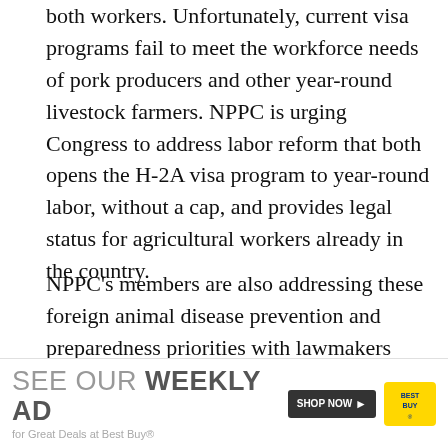both workers. Unfortunately, current visa programs fail to meet the workforce needs of pork producers and other year-round livestock farmers. NPPC is urging Congress to address labor reform that both opens the H-2A visa program to year-round labor, without a cap, and provides legal status for agricultural workers already in the country.
NPPC's members are also addressing these foreign animal disease prevention and preparedness priorities with lawmakers during this week's LAC:
Full congressionally appropriated funding—$635 million—for 720 new U.S. Customs and Border Protection agriculture inspectors as a...
[Figure (infographic): Best Buy advertisement banner: 'SEE OUR WEEKLY AD for Great Deals at Best Buy®' with Shop Now button and Best Buy logo]